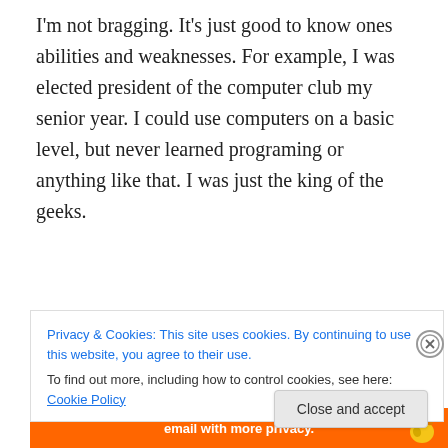I'm not bragging. It's just good to know ones abilities and weaknesses. For example, I was elected president of the computer club my senior year. I could use computers on a basic level, but never learned programing or anything like that. I was just the king of the geeks.
[Figure (logo): Automattic advertisement logo with 'AUTOMATTIC' text and decorative dots below]
All governments start as a protection racket, usually for the underclasses as a criminal organization. Our own
Privacy & Cookies: This site uses cookies. By continuing to use this website, you agree to their use.
To find out more, including how to control cookies, see here: Cookie Policy
[Figure (other): Close X circular button]
Close and accept
[Figure (other): Bottom orange banner with text 'email with more privacy.' and DuckDuckGo duck icon]